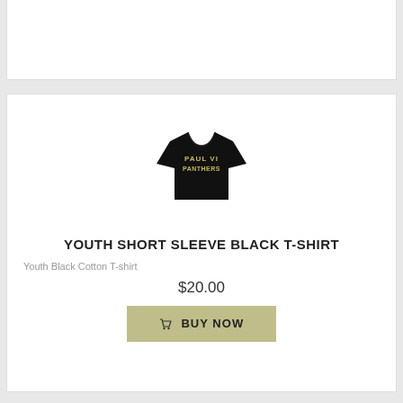[Figure (photo): Black youth t-shirt with 'PAUL VI PANTHERS' text in gold/yellow lettering on the front]
YOUTH SHORT SLEEVE BLACK T-SHIRT
Youth Black Cotton T-shirt
$20.00
BUY NOW